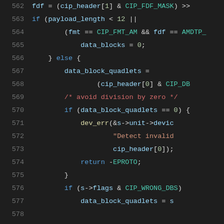[Figure (screenshot): Source code listing in a dark-themed code editor, showing C code lines 562–583 with syntax highlighting. Line numbers in gray on left, code in various colors (blue for keywords, teal for strings/macros, red for comments, yellow for functions, light blue for variables).]